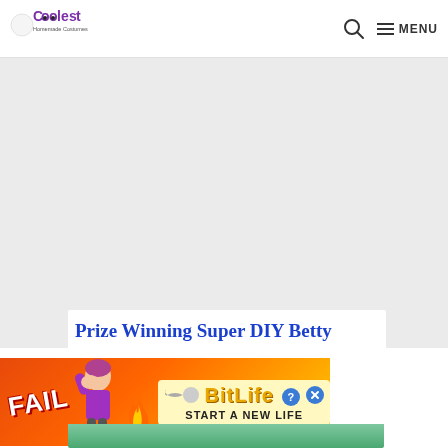Coolest Homemade Costumes — MENU
[Figure (other): Gray advertisement placeholder area]
Prize Winning Super DIY Betty
[Figure (other): BitLife banner advertisement with FAIL text, sperm graphic, and START A NEW LIFE tagline]
[Figure (photo): Bottom green image strip, partial costume photo]